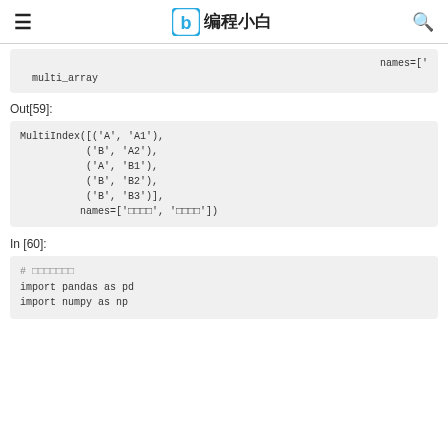编程小白
names=['  multi_array
Out[59]:
MultiIndex([('A', 'A1'),
           ('B', 'A2'),
           ('A', 'B1'),
           ('B', 'B2'),
           ('B', 'B3')],
          names=['□□□□', '□□□□'])
In [60]:
# □□□□□□□
import pandas as pd
import numpy as np